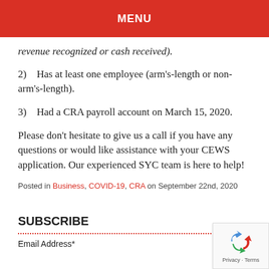MENU
revenue recognized or cash received).
2)    Has at least one employee (arm's-length or non-arm's-length).
3)    Had a CRA payroll account on March 15, 2020.
Please don't hesitate to give us a call if you have any questions or would like assistance with your CEWS application. Our experienced SYC team is here to help!
Posted in Business, COVID-19, CRA on September 22nd, 2020
SUBSCRIBE
Email Address*